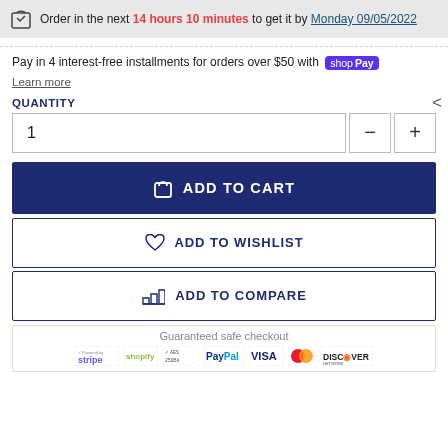Order in the next 14 hours 10 minutes to get it by Monday 09/05/2022
Pay in 4 interest-free installments for orders over $50 with shop Pay
Learn more
QUANTITY
1
ADD TO CART
ADD TO WISHLIST
ADD TO COMPARE
Guaranteed safe checkout
[Figure (infographic): Payment method logos: stripe, shopify, AES 256bit, PayPal, VISA, MasterCard, DISCOVER NETWORK]